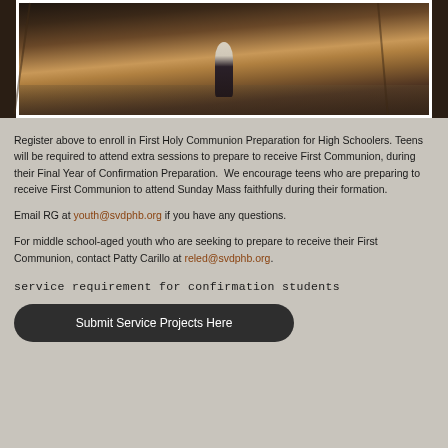[Figure (photo): A person in white top and dark pants wading through shallow water on a wet reflective floor, surrounded by dark wooden structures. The scene appears to depict some kind of flood or water ceremony.]
Register above to enroll in First Holy Communion Preparation for High Schoolers. Teens will be required to attend extra sessions to prepare to receive First Communion, during their Final Year of Confirmation Preparation. We encourage teens who are preparing to receive First Communion to attend Sunday Mass faithfully during their formation.
Email RG at youth@svdphb.org if you have any questions.
For middle school-aged youth who are seeking to prepare to receive their First Communion, contact Patty Carillo at reled@svdphb.org.
service requirement for confirmation students
Submit Service Projects Here